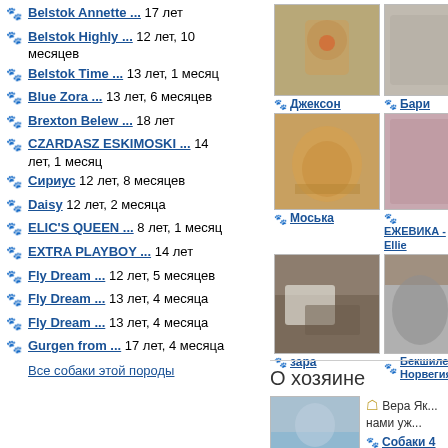Belstok Annette ... 17 лет
Belstok Highly ... 12 лет, 10 месяцев
Belstok Time ... 13 лет, 1 месяц
Blue Zora ... 13 лет, 6 месяцев
Brexton Belew ... 18 лет
CZARDASZ ESKIMOSKI ... 14 лет, 1 месяц
Сириус 12 лет, 8 месяцев
Daisy 12 лет, 2 месяца
ELIC'S QUEEN ... 8 лет, 1 месяц
EXTRA PLAYBOY ... 14 лет
Fly Dream ... 12 лет, 5 месяцев
Fly Dream ... 13 лет, 4 месяца
Fly Dream ... 13 лет, 4 месяца
Gurgen from ... 17 лет, 4 месяца
Все собаки этой породы
[Figure (photo): Dog photo - Джексон]
Джексон
[Figure (photo): Dog photo - Бари]
Бари
[Figure (photo): Dog photo - Моська]
Моська
[Figure (photo): Dog photo - ЕЖЕВИКА - Ellie]
ЕЖЕВИКА - Ellie
[Figure (photo): Dog photo - зара]
зара
[Figure (photo): Dog photo - Бекшилер Норвегия]
Бекшилер Норвегия
О хозяине
[Figure (photo): Owner photo]
Вера Як... нами уж...
Собаки 4